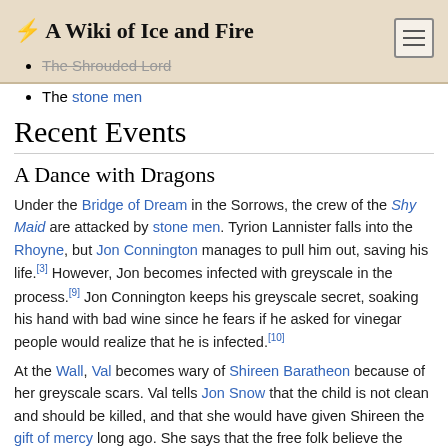A Wiki of Ice and Fire
The Shrouded Lord
The stone men
Recent Events
A Dance with Dragons
Under the Bridge of Dream in the Sorrows, the crew of the Shy Maid are attacked by stone men. Tyrion Lannister falls into the Rhoyne, but Jon Connington manages to pull him out, saving his life.[3] However, Jon becomes infected with greyscale in the process.[9] Jon Connington keeps his greyscale secret, soaking his hand with bad wine since he fears if he asked for vinegar people would realize that he is infected.[10]
At the Wall, Val becomes wary of Shireen Baratheon because of her greyscale scars. Val tells Jon Snow that the child is not clean and should be killed, and that she would have given Shireen the gift of mercy long ago. She says that the free folk believe the disease never truly goes away in survivors, and insists that Gilly's son and his wet nurses not live in the same tower as Shireen.[4]